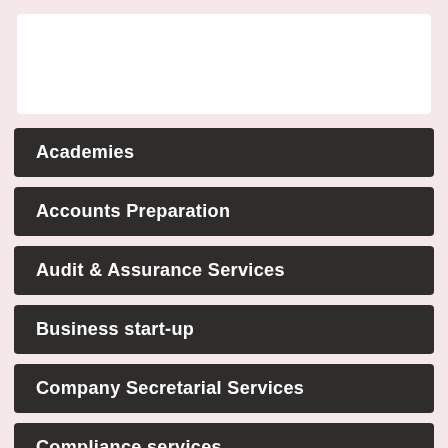[Figure (other): White rectangular box at top of page, likely a logo or header image area]
Academies
Accounts Preparation
Audit & Assurance Services
Business start-up
Company Secretarial Services
Compliance services
Consultancy & systems advice
Information Technology